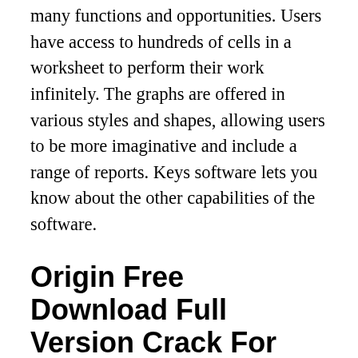many functions and opportunities. Users have access to hundreds of cells in a worksheet to perform their work infinitely. The graphs are offered in various styles and shapes, allowing users to be more imaginative and include a range of reports. Keys software lets you know about the other capabilities of the software.
Origin Free Download Full Version Crack For Mac/Windows
Origin Free Download Full Version Crack is an application connected with chart analysis and evaluation of information. It is regarded as a helper for researchers and